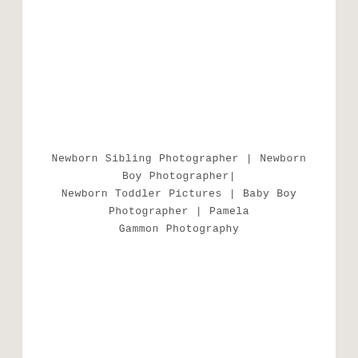Newborn Sibling Photographer | Newborn Boy Photographer| Newborn Toddler Pictures | Baby Boy Photographer | Pamela Gammon Photography